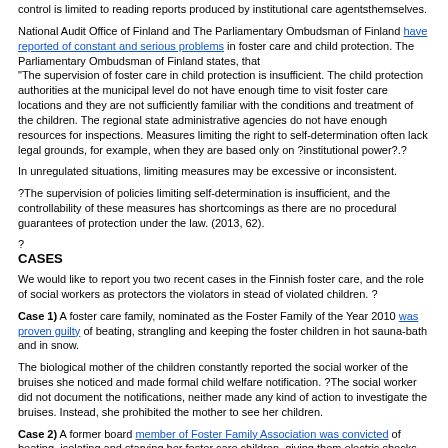control is limited to reading reports produced by institutional care agentsthemselves.
National Audit Office of Finland and The Parliamentary Ombudsman of Finland have reported of constant and serious problems in foster care and child protection. The Parliamentary Ombudsman of Finland states, that
"The supervision of foster care in child protection is insufficient. The child protection authorities at the municipal level do not have enough time to visit foster care locations and they are not sufficiently familiar with the conditions and treatment of the children. The regional state administrative agencies do not have enough resources for inspections. Measures limiting the right to self-determination often lack legal grounds, for example, when they are based only on ?institutional power?.?
In unregulated situations, limiting measures may be excessive or inconsistent.
?The supervision of policies limiting self-determination is insufficient, and the controllability of these measures has shortcomings as there are no procedural guarantees of protection under the law. (2013, 62).
?
CASES
We would like to report you two recent cases in the Finnish foster care, and the role of social workers as protectors the violators in stead of violated children. ?
Case 1) A foster care family, nominated as the Foster Family of the Year 2010 was proven guilty of beating, strangling and keeping the foster children in hot sauna-bath and in snow.
The biological mother of the children constantly reported the social worker of the bruises she noticed and made formal child welfare notification. ?The social worker did not document the notifications, neither made any kind of action to investigate the bruises. Instead, she prohibited the mother to see her children.
Case 2) A former board member of Foster Family Association was convicted of beating, isolating and starving her foster care children, giving them electric shocks and causing them frost injuries.
The last two lines are cut off at the bottom of the page.